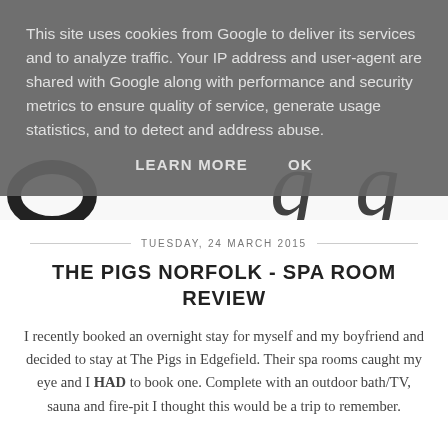[Figure (logo): Partial decorative logo/script text visible behind the cookie overlay, dark cursive letterforms on light background]
This site uses cookies from Google to deliver its services and to analyze traffic. Your IP address and user-agent are shared with Google along with performance and security metrics to ensure quality of service, generate usage statistics, and to detect and address abuse.
LEARN MORE   OK
TUESDAY, 24 MARCH 2015
THE PIGS NORFOLK - SPA ROOM REVIEW
I recently booked an overnight stay for myself and my boyfriend and decided to stay at The Pigs in Edgefield. Their spa rooms caught my eye and I HAD to book one. Complete with an outdoor bath/TV, sauna and fire-pit I thought this would be a trip to remember.